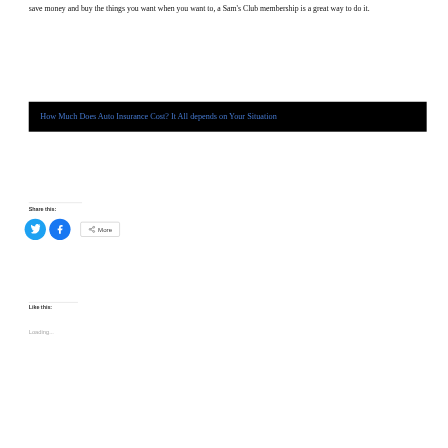save money and buy the things you want when you want to, a Sam's Club membership is a great way to do it.
[Figure (screenshot): Black banner with linked article title in blue text: 'How Much Does Auto Insurance Cost? It All depends on Your Situation']
Share this:
[Figure (infographic): Social share buttons: Twitter (blue circle with bird icon), Facebook (blue circle with f icon), and More button with share icon]
Like this:
Loading...